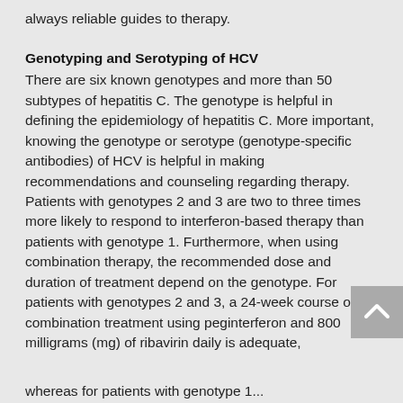always reliable guides to therapy.
Genotyping and Serotyping of HCV
There are six known genotypes and more than 50 subtypes of hepatitis C. The genotype is helpful in defining the epidemiology of hepatitis C. More important, knowing the genotype or serotype (genotype-specific antibodies) of HCV is helpful in making recommendations and counseling regarding therapy. Patients with genotypes 2 and 3 are two to three times more likely to respond to interferon-based therapy than patients with genotype 1. Furthermore, when using combination therapy, the recommended dose and duration of treatment depend on the genotype. For patients with genotypes 2 and 3, a 24-week course of combination treatment using peginterferon and 800 milligrams (mg) of ribavirin daily is adequate, whereas for patients with genotype 1...